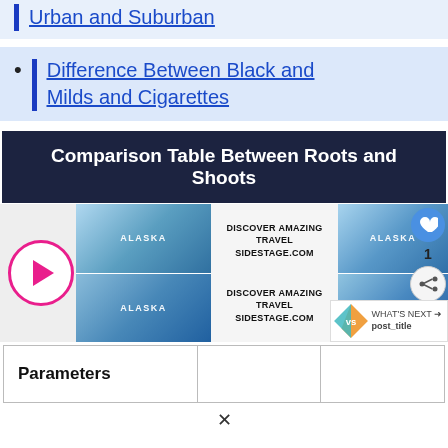Urban and Suburban
Difference Between Black and Milds and Cigarettes
Comparison Table Between Roots and Shoots
[Figure (infographic): Advertisement block showing Alaska travel images with play button, sidestage.com branding, social icons (heart, share), number 1, and a 'What's Next' badge with post_title]
| Parameters |  |  |
| --- | --- | --- |
| Parameters |  |  |